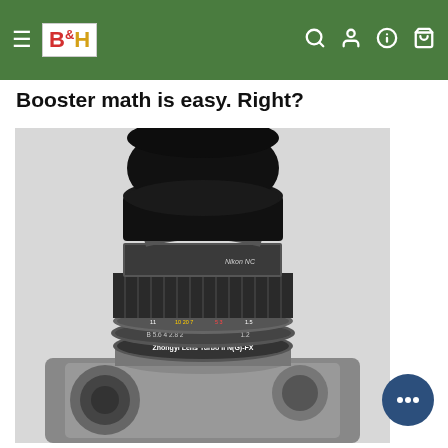B&H Photo Video — Navigation bar with hamburger menu, logo, search, account, help, and cart icons
Booster math is easy. Right?
[Figure (photo): Close-up photograph of a Nikon camera lens with a Zhongyi Lens Turbo II N(G)-FX focal reducer adapter mounted on an analog film camera body. The lens has a large round black lens hood on top, focus and aperture rings visible, and the camera body below is silver/chrome.]